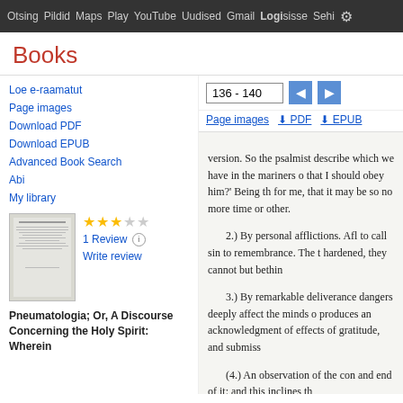Otsing  Pildid  Maps  Play  YouTube  Uudised  Gmail  Logi sisse  Sehi
Books
136 - 140
Loe e-raamatut
Page images
Download PDF
Download EPUB
Advanced Book Search
Abi
My library
1 Review
Write review
Pneumatologia; Or, A Discourse Concerning the Holy Spirit: Wherein
version. So the psalmist describe which we have in the mariners o that I should obey him?' Being th for me, that it may be so no more time or other.

2.) By personal afflictions. Afl to call sin to remembrance. The t hardened, they cannot but bethin

3.) By remarkable deliverance dangers deeply affect the minds o produces an acknowledgment of effects of gratitude, and submiss

(4.) An observation of the con and end of it; and this inclines th